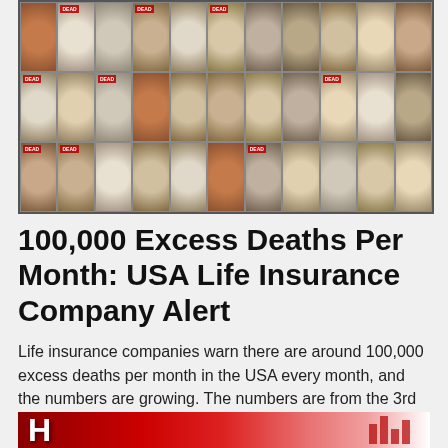[Figure (photo): Collage of many individual portrait photos of people, some labeled DEAD or with ages, arranged in a 3-row grid mosaic]
100,000 Excess Deaths Per Month: USA Life Insurance Company Alert
Life insurance companies warn there are around 100,000 excess deaths per month in the USA every month, and the numbers are growing. The numbers are from the 3rd quarter of 2021, as COVID vaccinations ramped up.
[Figure (photo): Partial view of a red-themed banner/logo image with a large white letter H on the left and red gradient with bar chart-like elements on the right]